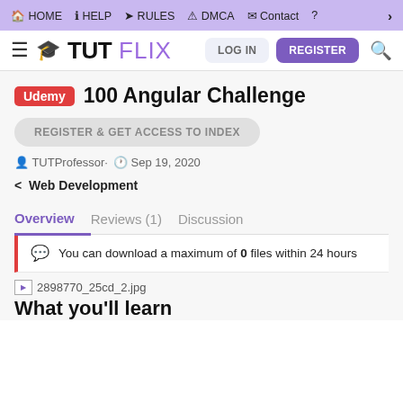HOME HELP RULES DMCA Contact ? >
TUTFLIX LOG IN REGISTER
Udemy 100 Angular Challenge
REGISTER & GET ACCESS TO INDEX
TUTProfessor · Sep 19, 2020
< Web Development
Overview Reviews (1) Discussion
You can download a maximum of 0 files within 24 hours
2898770_25cd_2.jpg
What you'll learn